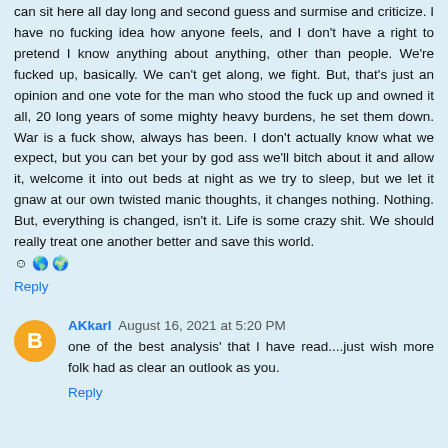can sit here all day long and second guess and surmise and criticize. I have no fucking idea how anyone feels, and I don't have a right to pretend I know anything about anything, other than people. We're fucked up, basically. We can't get along, we fight. But, that's just an opinion and one vote for the man who stood the fuck up and owned it all, 20 long years of some mighty heavy burdens, he set them down. War is a fuck show, always has been. I don't actually know what we expect, but you can bet your by god ass we'll bitch about it and allow it, welcome it into out beds at night as we try to sleep, but we let it gnaw at our own twisted manic thoughts, it changes nothing. Nothing. But, everything is changed, isn't it. Life is some crazy shit. We should really treat one another better and save this world. ☺ 🌎 🌍
Reply
AKkarl August 16, 2021 at 5:20 PM
one of the best analysis' that I have read....just wish more folk had as clear an outlook as you.
Reply